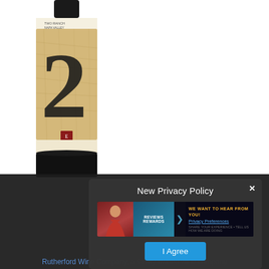[Figure (photo): Wine bottle with label showing a large '2' numeral on an antique map background, text reads 'TWO RANCH NAPA VALLEY RED WINE', dark bottle with cream/tan label]
New Privacy Policy
[Figure (screenshot): Advertisement banner with a woman in red on the left, blue branded middle section, and dark right side saying 'WE WANT TO HEAR FROM YOU!' with Privacy Preferences link]
Privacy Preferences
I Agree
Rutherford Wine Company, a family owned wine company